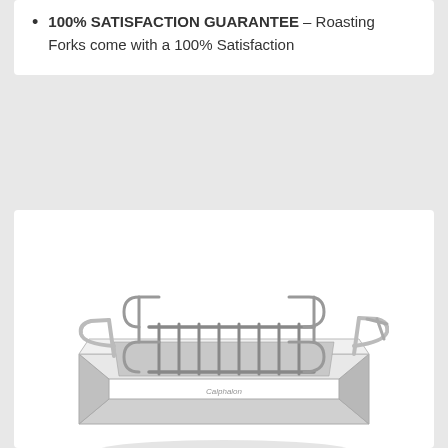100% SATISFACTION GUARANTEE – Roasting Forks come with a 100% Satisfaction
[Figure (photo): Stainless steel roasting pan with rack and two handles, shown at an angle on a white background]
in stock
7 new from $64.95